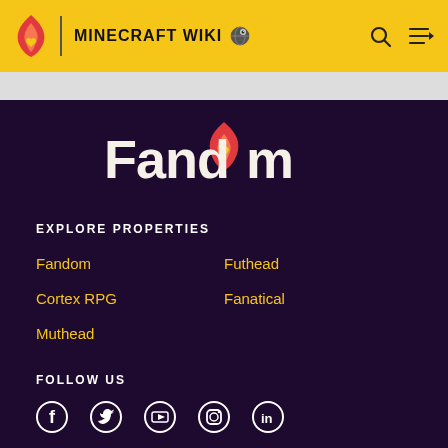MINECRAFT WIKI
[Figure (logo): Fandom logo with flame icon and heart, white text on dark purple background]
EXPLORE PROPERTIES
Fandom
Futhead
Cortex RPG
Fanatical
Muthead
FOLLOW US
[Figure (infographic): Social media icons: Facebook, Twitter, YouTube, Instagram, LinkedIn]